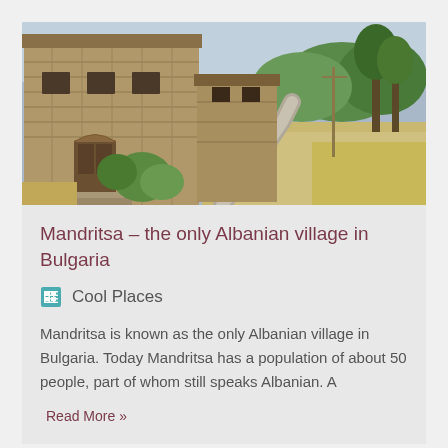[Figure (photo): Photograph of a stone village in Bulgaria, showing a rustic stone building with wooden doors and a winding dirt/paved path through dry grass and green trees.]
Mandritsa – the only Albanian village in Bulgaria
Cool Places
Mandritsa is known as the only Albanian village in Bulgaria. Today Mandritsa has a population of about 50 people, part of whom still speaks Albanian. A
Read More »